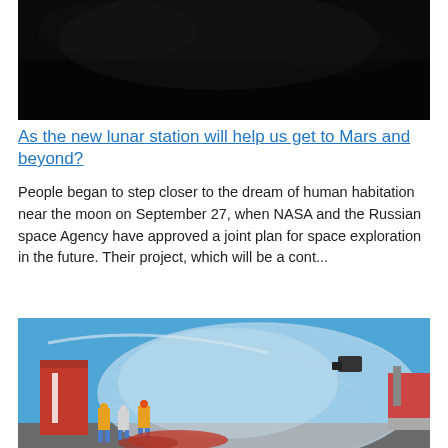[Figure (photo): Dark space or moon surface image, mostly black with some texture visible at the top]
As the new lunar station will help us get to Mars and beyond?
People began to step closer to the dream of human habitation near the moon on September 27, when NASA and the Russian space Agency have approved a joint plan for space exploration in the future. Their project, which will be a cont...
[Figure (photo): Workers in high-visibility vests handle a large transparent balloon near a red World View building. A crane truck is visible on the right. Blue sky background.]